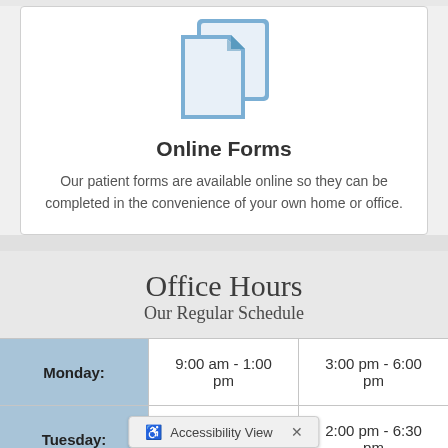[Figure (illustration): Blue copy/documents icon showing two overlapping document pages with a folded corner]
Online Forms
Our patient forms are available online so they can be completed in the convenience of your own home or office.
Office Hours
Our Regular Schedule
|  | Column 1 | Column 2 |
| --- | --- | --- |
| Monday: | 9:00 am - 1:00 pm | 3:00 pm - 6:00 pm |
| Tuesday: | closed | 2:00 pm - 6:30 pm |
Accessibility View